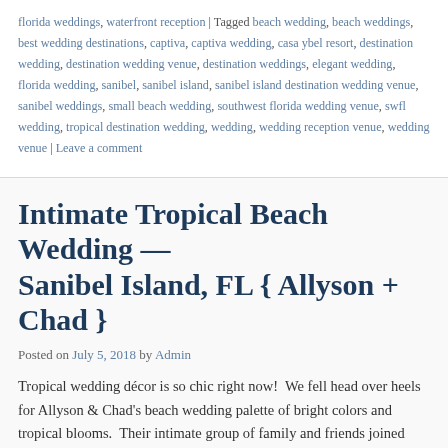florida weddings, waterfront reception | Tagged beach wedding, beach weddings, best wedding destinations, captiva, captiva wedding, casa ybel resort, destination wedding, destination wedding venue, destination weddings, elegant wedding, florida wedding, sanibel, sanibel island, sanibel island destination wedding venue, sanibel weddings, small beach wedding, southwest florida wedding venue, swfl wedding, tropical destination wedding, wedding, wedding reception venue, wedding venue | Leave a comment
Intimate Tropical Beach Wedding — Sanibel Island, FL { Allyson + Chad }
Posted on July 5, 2018 by Admin
Tropical wedding décor is so chic right now!  We fell head over heels for Allyson & Chad's beach wedding palette of bright colors and tropical blooms.  Their intimate group of family and friends joined them at Sanibel Island's Casa Ybel Resort for a wedding